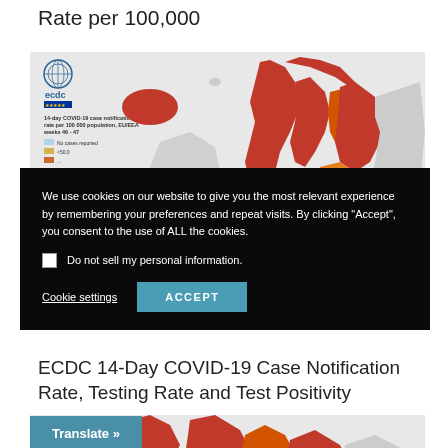Rate per 100,000
[Figure (map): ECDC 14-day COVID-19 case notification rate per 100,000 population EU/EEA weeks 46-47, choropleth map of Europe showing dark orange/red colors in Scandinavia and surrounding regions. Legend shows: No cases reported, <50.0]
We use cookies on our website to give you the most relevant experience by remembering your preferences and repeat visits. By clicking “Accept”, you consent to the use of ALL the cookies.
Do not sell my personal information.
Cookie settings
ACCEPT
ECDC 14-Day COVID-19 Case Notification Rate, Testing Rate and Test Positivity
[Figure (map): ECDC choropleth map of Europe (bottom, partially visible), showing COVID-19 case notification rates with dark orange/red colors.]
Translate »